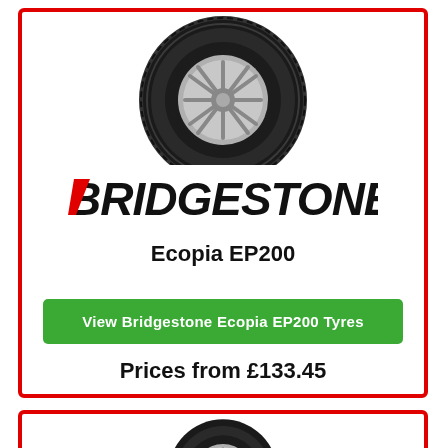[Figure (photo): Bridgestone tyre viewed from the side, top portion visible above the card, showing the tread and alloy wheel center]
[Figure (logo): Bridgestone logo in bold italic black text with a red slash on the B]
Ecopia EP200
View Bridgestone Ecopia EP200 Tyres
Prices from £133.45
[Figure (photo): Second tyre product image, partially visible at the bottom of the page in a second card]